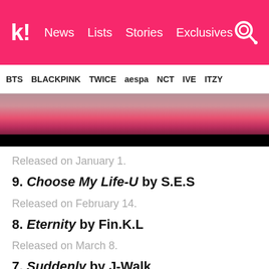k! News Lists Stories Exclusives
BTS BLACKPINK TWICE aespa NCT IVE ITZY
[Figure (photo): Partial view of a person's face with pink/red background and black bar at bottom]
Released on January 1.
9. Choose My Life-U by S.E.S
Released on February 14.
8. Eternity by Fin.K.L
Released on March 8.
7. Suddenly by J-Walk
Released on March 8.